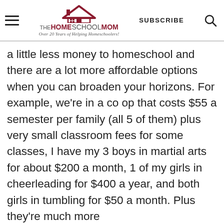THE HOMESCHOOL MOM — Over 20 Years of Helping Homeschoolers! | SUBSCRIBE
a little less money to homeschool and there are a lot more affordable options when you can broaden your horizons. For example, we're in a co op that costs $55 a semester per family (all 5 of them) plus very small classroom fees for some classes, I have my 3 boys in martial arts for about $200 a month, 1 of my girls in cheerleading for $400 a year, and both girls in tumbling for $50 a month. Plus they're much more understanding in the homeschooling community about delayed payment